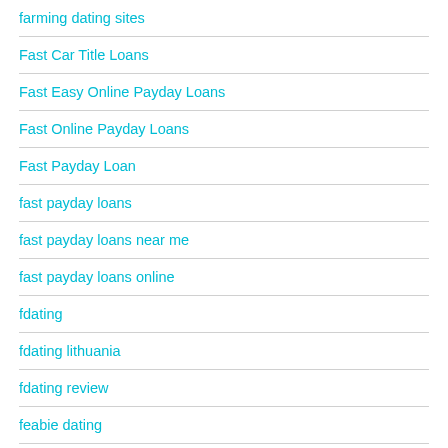farming dating sites
Fast Car Title Loans
Fast Easy Online Payday Loans
Fast Online Payday Loans
Fast Payday Loan
fast payday loans
fast payday loans near me
fast payday loans online
fdating
fdating lithuania
fdating review
feabie dating
Feco Oil